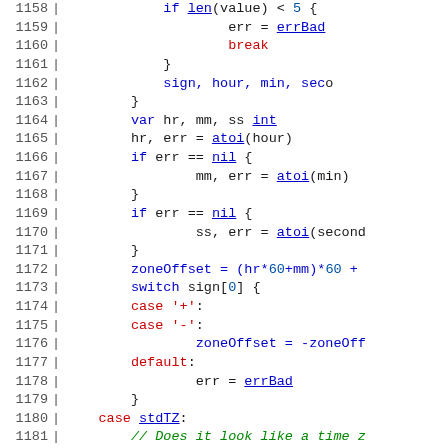[Figure (screenshot): Source code listing in Go-like language, lines 1158-1187, showing timezone parsing logic with syntax highlighting. Blue for keywords and function names (underlined), red for string literals and some identifiers, green italic for comments. Line numbers on the left with vertical bar separator.]